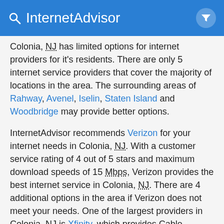InternetAdvisor
Colonia, NJ has limited options for internet providers for it's residents. There are only 5 internet service providers that cover the majority of locations in the area. The surrounding areas of Rahway, Avenel, Iselin, Staten Island and Woodbridge may provide better options.
InternetAdvisor recommends Verizon for your internet needs in Colonia, NJ. With a customer service rating of 4 out of 5 stars and maximum download speeds of 15 Mbps, Verizon provides the best internet service in Colonia, NJ. There are 4 additional options in the area if Verizon does not meet your needs. One of the largest providers in Colonia, NJ is Xfinity, which provides Cable Internet, Television and Phone service. Coverage is available for 84% of Colonia, NJ. Xfinity offers the fastest download speed of 2 Gbps with 84.38% coverage of Colonia, NJ.
Cable internet offers outstanding speeds and reliability in